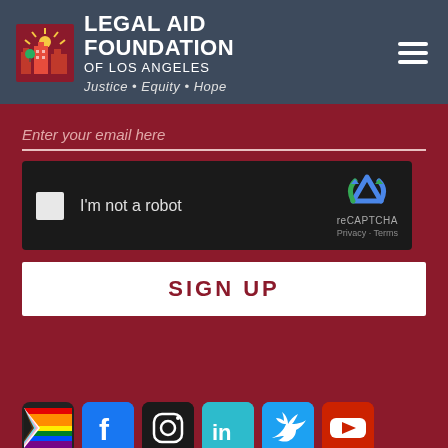[Figure (logo): Legal Aid Foundation of Los Angeles logo with icon showing buildings and sun rays, white text reading LEGAL AID FOUNDATION of LOS ANGELES, tagline Justice · Equity · Hope]
Enter your email here
[Figure (screenshot): Google reCAPTCHA widget with checkbox, I'm not a robot text, and reCAPTCHA logo with Privacy and Terms links]
SIGN UP
[Figure (infographic): Row of social media icons: Pride flag, Facebook, Instagram, LinkedIn, Twitter, YouTube]
[Figure (logo): LawHelpCalifornia.org logo in white text on dark red background]
[Figure (logo): LSC Legal Services Corporation logo: LSC letters with vertical bar, America's Partner for Equal Justice, LEGAL SERVICES CORPORATION text below]